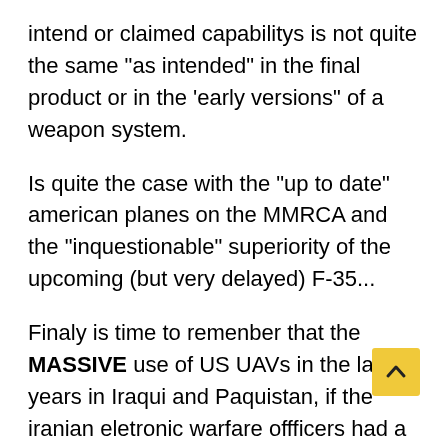intend or claimed capabilitys is not quite the same "as intended" in the final product or in the 'early versions" of a weapon system.
Is quite the case with the "up to date" american planes on the MMRCA and the "inquestionable" superiority of the upcoming (but very delayed) F-35...
Finaly is time to remenber that the MASSIVE use of US UAVs in the last 6 years in Iraqui and Paquistan, if the iranian eletronic warfare offficers had a MINNIMUM competence, the Iranian military is in ther